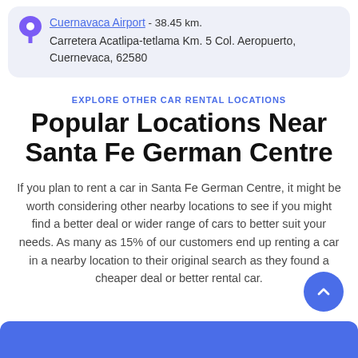Cuernavaca Airport - 38.45 km. Carretera Acatlipa-tetlama Km. 5 Col. Aeropuerto, Cuernevaca, 62580
EXPLORE OTHER CAR RENTAL LOCATIONS
Popular Locations Near Santa Fe German Centre
If you plan to rent a car in Santa Fe German Centre, it might be worth considering other nearby locations to see if you might find a better deal or wider range of cars to better suit your needs. As many as 15% of our customers end up renting a car in a nearby location to their original search as they found a cheaper deal or better rental car.